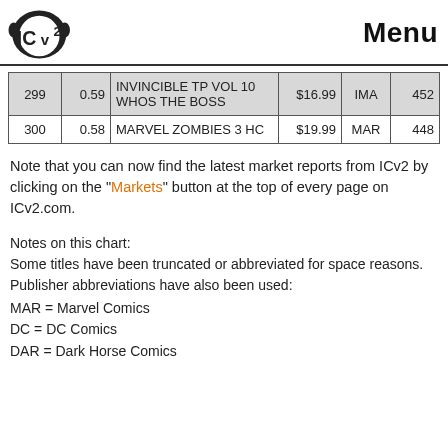ICv2 Menu
| Rank | Score | Title | Price | Pub | Num |
| --- | --- | --- | --- | --- | --- |
| 299 | 0.59 | INVINCIBLE TP VOL 10 WHOS THE BOSS | $16.99 | IMA | 452 |
| 300 | 0.58 | MARVEL ZOMBIES 3 HC | $19.99 | MAR | 448 |
Note that you can now find the latest market reports from ICv2 by clicking on the "Markets" button at the top of every page on ICv2.com.
Notes on this chart:
Some titles have been truncated or abbreviated for space reasons.  Publisher abbreviations have also been used:
MAR = Marvel Comics
DC = DC Comics
DAR = Dark Horse Comics